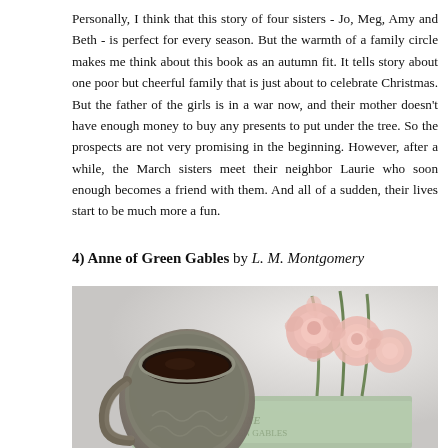Personally, I think that this story of four sisters - Jo, Meg, Amy and Beth - is perfect for every season. But the warmth of a family circle makes me think about this book as an autumn fit. It tells story about one poor but cheerful family that is just about to celebrate Christmas. But the father of the girls is in a war now, and their mother doesn't have enough money to buy any presents to put under the tree. So the prospects are not very promising in the beginning. However, after a while, the March sisters meet their neighbor Laurie who soon enough becomes a friend with them. And all of a sudden, their lives start to be much more a fun.
4) Anne of Green Gables by L. M. Montgomery
[Figure (photo): A photo showing a grey ceramic mug with dark tea/coffee, and several pink roses lying on what appears to be a green book cover (Anne of Green Gables), against a light grey/white background.]